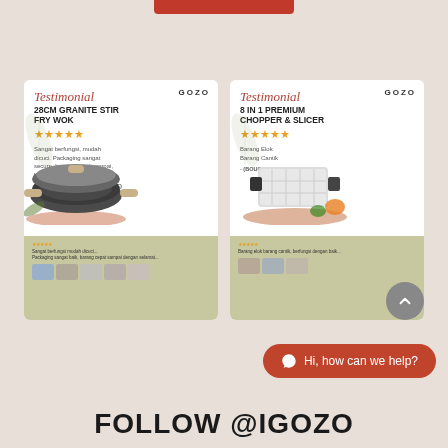[Figure (illustration): Red top bar/notch at top center of page]
[Figure (infographic): Two testimonial cards side by side for GOZO kitchen products. Left card: 28CM GRANITE STIR FRY WOK, 5-star rating, review text in Indonesian 'Sangat berfungsi, mudah dicuci. Packaging sangat secure, barang cepot sampai, barang sangat berkualiyu.' by A***0 (BOUGHT FROM SHOPEE), with product photo and screenshot thumbnails below. Right card: 8 IN 1 PREMIUM CHOPPER & SLICER, 5-star rating, review text 'Barang Elok Barang Cantik' by (BOUGHT SHOPEE), with product photo and screenshot thumbnails below.]
[Figure (illustration): Grey circular scroll-up button with upward chevron arrow]
[Figure (illustration): Orange rounded WhatsApp chat button reading 'Hi, how can we help?']
FOLLOW @IGOZO